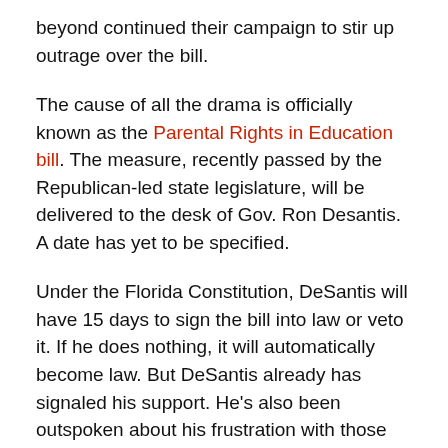beyond continued their campaign to stir up outrage over the bill.
The cause of all the drama is officially known as the Parental Rights in Education bill. The measure, recently passed by the Republican-led state legislature, will be delivered to the desk of Gov. Ron Desantis. A date has yet to be specified.
Under the Florida Constitution, DeSantis will have 15 days to sign the bill into law or veto it. If he does nothing, it will automatically become law. But DeSantis already has signaled his support. He's also been outspoken about his frustration with those who perpetuate attaching the name “Don't Say Gay” to the bill.
Despite what pundits and activists around the country have passionately decried, the bill wouldn't ban the word “gay,” and